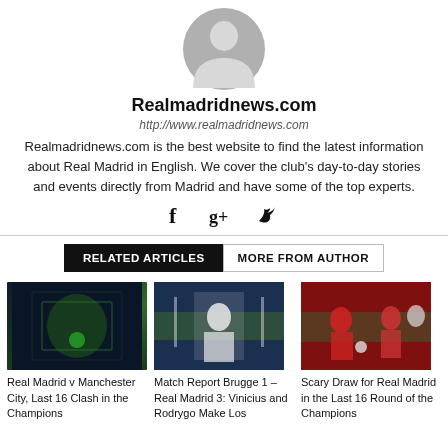[Figure (illustration): Generic avatar placeholder icon — grey circle with person silhouette]
Realmadridnews.com
http://www.realmadridnews.com
Realmadridnews.com is the best website to find the latest information about Real Madrid in English. We cover the club's day-to-day stories and events directly from Madrid and have some of the top experts.
[Figure (infographic): Social media icons: Facebook (f), Google+ (g+), Twitter (bird)]
RELATED ARTICLES    MORE FROM AUTHOR
[Figure (photo): Football player in green training bib under Champions League spotlight]
Real Madrid v Manchester City, Last 16 Clash in the Champions
[Figure (photo): Real Madrid player in white kit on green pitch, Champions League]
Match Report Brugge 1 – Real Madrid 3: Vinicius and Rodrygo Make Los
[Figure (photo): Liverpool players in red kits in match action, Champions League]
Scary Draw for Real Madrid in the Last 16 Round of the Champions